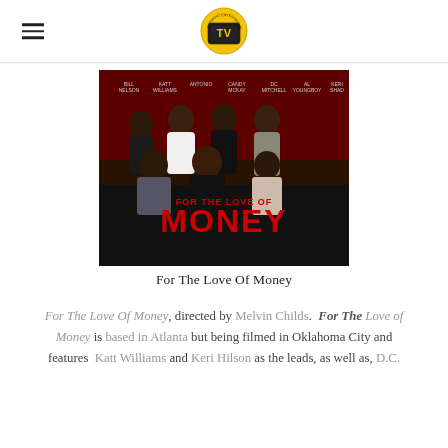TV logo / navigation header
[Figure (photo): Movie poster for 'For The Love Of Money' showing a group of actors posed against a dark red background with large bold red text reading 'FOR THE LOVE OF MONEY' at the bottom]
For The Love Of Money
For The Love Of Money, directed by Melvin Childs. For The Love of Money is based in Atlanta but being filmed in Oklahoma City and features Katt Williams and Keri Hilson as the leads, as well as, D.C.